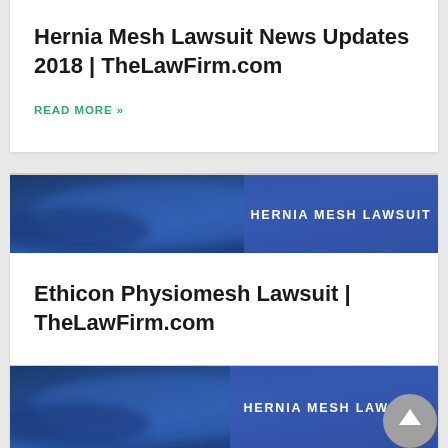Hernia Mesh Lawsuit News Updates 2018 | TheLawFirm.com
READ MORE »
[Figure (photo): Blue banner image with text overlay 'HERNIA MESH LAWSUIT']
Ethicon Physiomesh Lawsuit | TheLawFirm.com
READ MORE »
[Figure (photo): Blue banner image with text overlay 'HERNIA MESH LAWSUIT']
Hernia Mesh Lawsuit News Updates |